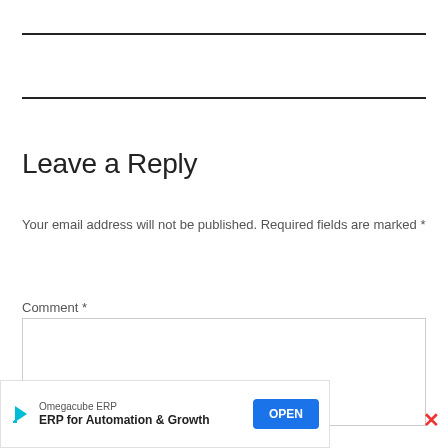Leave a Reply
Your email address will not be published. Required fields are marked *
Comment *
[Figure (screenshot): Empty comment text area input box with light grey border]
[Figure (screenshot): Advertisement banner: Omegacube ERP - ERP for Automation & Growth with OPEN button and close X]